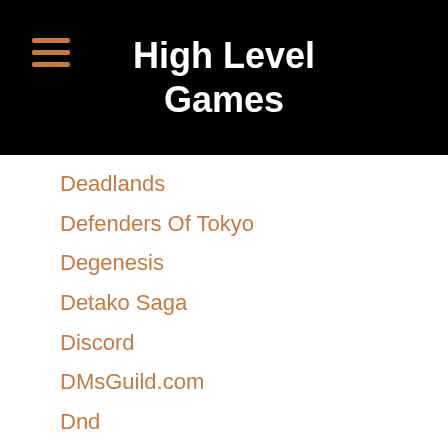High Level Games
Deadlands
Defenders Of Tokyo
Degenesis
Detako Saga
Discord
DMsGuild.com
Dnd
Dndbeyond
Doctor-who
Double-cross
Dread
Dresden-files
DriveThruRPG.com
Dr. Who
Dungeon Crawl Classics